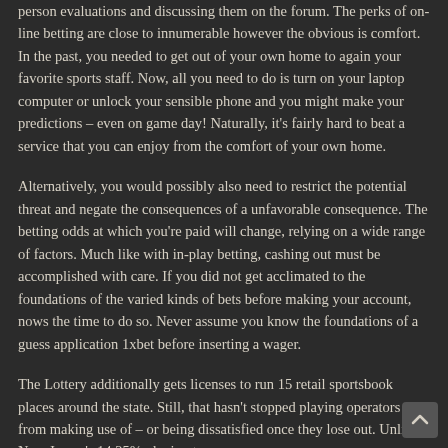person evaluations and discussing them on the forum. The perks of on-line betting are close to innumerable however the obvious is comfort. In the past, you needed to get out of your own home to again your favorite sports staff. Now, all you need to do is turn on your laptop computer or unlock your sensible phone and you might make your predictions – even on game day! Naturally, it's fairly hard to beat a service that you can enjoy from the comfort of your own home.
Alternatively, you would possibly also need to restrict the potential threat and negate the consequences of a unfavorable consequence. The betting odds at which you're paid will change, relying on a wide range of factors. Much like with in-play betting, cashing out must be accomplished with care. If you did not get acclimated to the foundations of the varied kinds of bets before making your account, nows the time to do so. Never assume you know the foundations of a guess application 1xbet before inserting a wager.
The Lottery additionally gets licenses to run 15 retail sportsbook places around the state. Still, that hasn't stopped playing operators from making use of – or being dissatisfied once they lose out. Unlike New Jersey's 14.25% playing tax, or